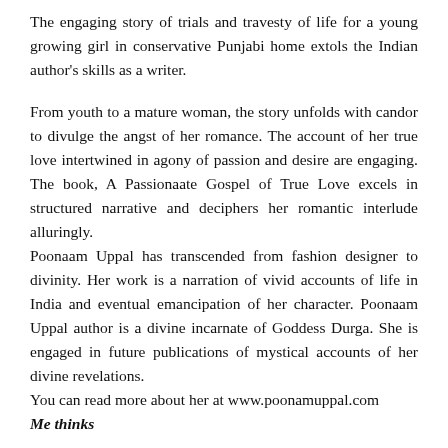The engaging story of trials and travesty of life for a young growing girl in conservative Punjabi home extols the Indian author's skills as a writer.
From youth to a mature woman, the story unfolds with candor to divulge the angst of her romance. The account of her true love intertwined in agony of passion and desire are engaging. The book, A Passionaate Gospel of True Love excels in structured narrative and deciphers her romantic interlude alluringly.
Poonaam Uppal has transcended from fashion designer to divinity. Her work is a narration of vivid accounts of life in India and eventual emancipation of her character. Poonaam Uppal author is a divine incarnate of Goddess Durga. She is engaged in future publications of mystical accounts of her divine revelations.
You can read more about her at www.poonamuppal.com
Me thinks